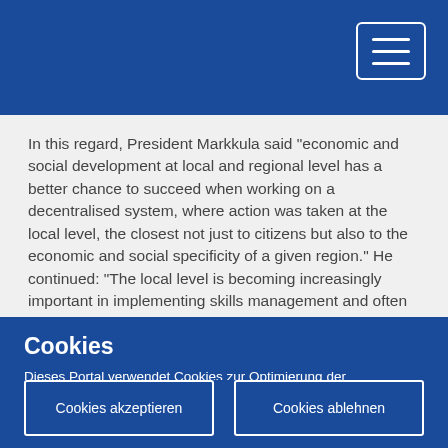In this regard, President Markkula said "economic and social development at local and regional level has a better chance to succeed when working on a decentralised system, where action was taken at the local level, the closest not just to citizens but also to the economic and social specificity of a given region." He continued: "The local level is becoming increasingly important in implementing skills management and often has a more innovative approach, even though local innovative capacities often suffer from weak institutional support."
Cookies
Dieses Portal verwendet Cookies zur Optimierung der Browserfunktion. Informieren Sie sich, wie wir Cookies verwenden und wie Sie Ihre Einstellungen ändern können.
Cookies akzeptieren
Cookies ablehnen